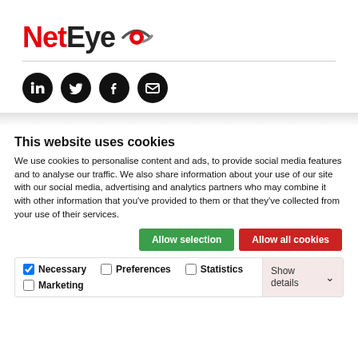[Figure (logo): NetEye logo with red 'Net' text and black 'Eye' text, followed by a circular eye icon in red and grey]
[Figure (other): Four social media icons (LinkedIn, Twitter, Facebook, Email) as white symbols on black circles]
This website uses cookies
We use cookies to personalise content and ads, to provide social media features and to analyse our traffic. We also share information about your use of our site with our social media, advertising and analytics partners who may combine it with other information that you've provided to them or that they've collected from your use of their services.
Allow selection | Allow all cookies
Necessary  Preferences  Statistics  Marketing  Show details